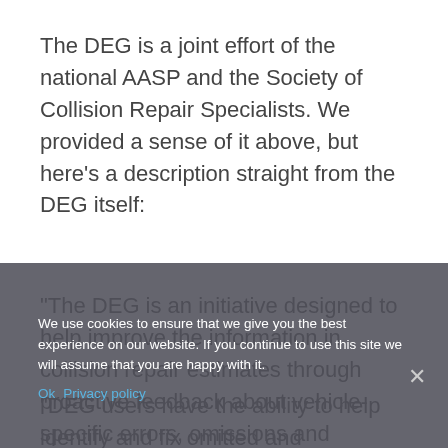The DEG is a joint effort of the national AASP and the Society of Collision Repair Specialists. We provided a sense of it above, but here's a description straight from the DEG itself:
“The DEG is an initiative designed to help improve the information in collision repair estimates through proactive feedback about vehicle-specific errors, omissions and inaccuracies in the database and labor times. ...
“DEG users have the ability to help identify and fix omitted and inaccurate information found in the estimating...
We use cookies to ensure that we give you the best experience on our website. If you continue to use this site we will assume that you are happy with it.